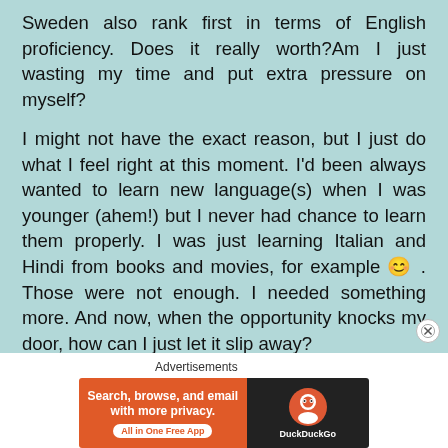Sweden also rank first in terms of English proficiency. Does it really worth?Am I just wasting my time and put extra pressure on myself?
I might not have the exact reason, but I just do what I feel right at this moment. I'd been always wanted to learn new language(s) when I was younger (ahem!) but I never had chance to learn them properly. I was just learning Italian and Hindi from books and movies, for example 😊 . Those were not enough. I needed something more. And now, when the opportunity knocks my door, how can I just let it slip away?
[Figure (screenshot): DuckDuckGo advertisement banner: orange left panel with text 'Search, browse, and email with more privacy. All in One Free App' and dark right panel with DuckDuckGo logo and name.]